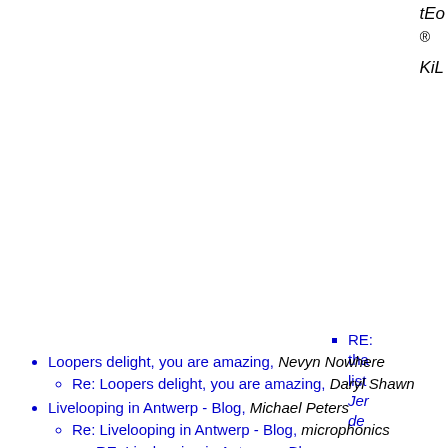tEc® KiL
RE: tha list Jen de
Loopers delight, you are amazing, Nevyn Nowhere
Re: Loopers delight, you are amazing, Daryl Shawn
Livelooping in Antwerp - Blog, Michael Peters
Re: Livelooping in Antwerp - Blog, microphonics
RE: Livelooping in Antwerp - Blog,